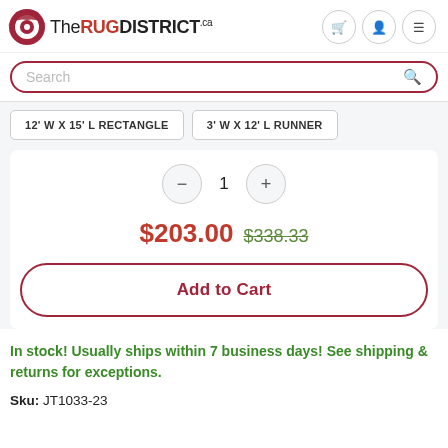[Figure (logo): The Rug District logo with red rug icon and brand name]
Search
12' W X 15' L RECTANGLE   3' W X 12' L RUNNER
1
$203.00  $338.33
Add to Cart
In stock! Usually ships within 7 business days! See shipping & returns for exceptions.
Sku: JT1033-23